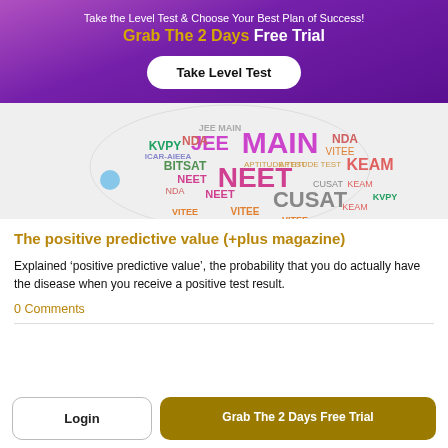Take the Level Test & Choose Your Best Plan of Success!
Grab The 2 Days Free Trial
[Figure (illustration): Word cloud showing exam names: JEE MAIN (large purple), NEET (large pink/purple), CUSAT (large), KEAM, NDA, KVPY, BITSAT, VITEE, ICAR-AIEEA and others in various colors and sizes, forming a circular/globe shape on a light gray background. A small blue circle is visible on the left.]
The positive predictive value (+plus magazine)
Explained ‘positive predictive value’, the probability that you do actually have the disease when you receive a positive test result.
0 Comments